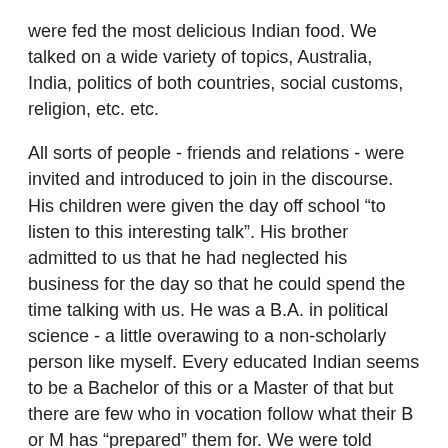were fed the most delicious Indian food. We talked on a wide variety of topics, Australia, India, politics of both countries, social customs, religion, etc. etc.
All sorts of people - friends and relations - were invited and introduced to join in the discourse. His children were given the day off school “to listen to this interesting talk”. His brother admitted to us that he had neglected his business for the day so that he could spend the time talking with us. He was a B.A. in political science - a little overawing to a non-scholarly person like myself. Every educated Indian seems to be a Bachelor of this or a Master of that but there are few who in vocation follow what their B or M has “prepared” them for. We were told much later by a graduate engineer that the education “they” were getting was of little value in a country that couldn’t find them jobs with remuneration commensurate with their standard of learning.
Our host apologised for the upset nature of domestic